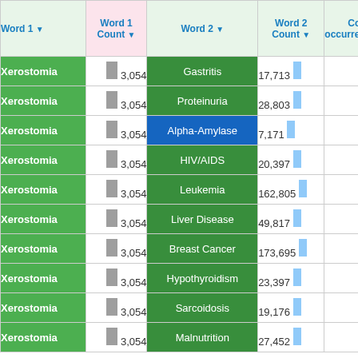| Word 1 | Word 1 Count | Word 2 | Word 2 Count | Co-occurrence | Occurrence Centile |
| --- | --- | --- | --- | --- | --- |
| Xerostomia | 3,054 | Gastritis | 17,713 | 9 | 0. |
| Xerostomia | 3,054 | Proteinuria | 28,803 | 9 | 0. |
| Xerostomia | 3,054 | Alpha-Amylase | 7,171 | 10 | 0. |
| Xerostomia | 3,054 | HIV/AIDS | 20,397 | 11 | 0. |
| Xerostomia | 3,054 | Leukemia | 162,805 | 11 | 0. |
| Xerostomia | 3,054 | Liver Disease | 49,817 | 12 | 0. |
| Xerostomia | 3,054 | Breast Cancer | 173,695 | 15 | 0. |
| Xerostomia | 3,054 | Hypothyroidism | 23,397 | 17 | 0. |
| Xerostomia | 3,054 | Sarcoidosis | 19,176 | 18 | 0. |
| Xerostomia | 3,054 | Malnutrition | 27,452 | 19 | 0. |